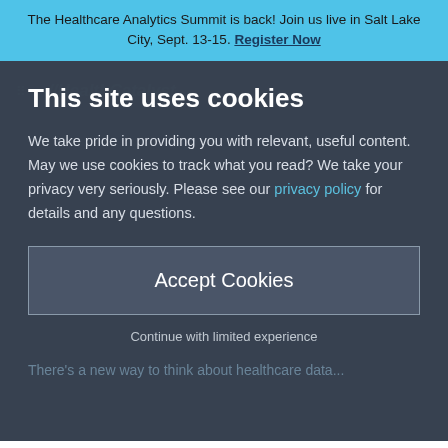The Healthcare Analytics Summit is back! Join us live in Salt Lake City, Sept. 13-15. Register Now
This site uses cookies
We take pride in providing you with relevant, useful content. May we use cookies to track what you read? We take your privacy very seriously. Please see our privacy policy for details and any questions.
Accept Cookies
Continue with limited experience
There's a new way to think about healthcare data...